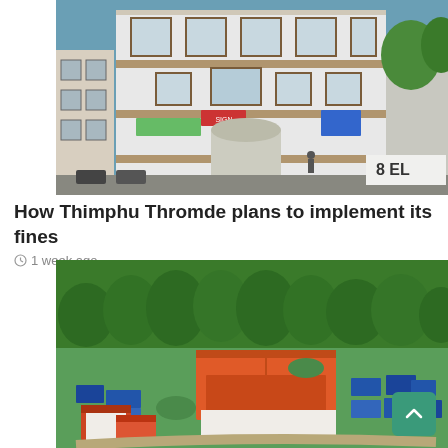[Figure (photo): Street-level photo of a multi-story white Bhutanese-style building with dark wooden trim, windows with decorative elements, commercial signs on the ground floor, blue sky with trees visible to the right, and text '8 EL' partially visible on a sign at lower right.]
How Thimphu Thromde plans to implement its fines
1 week ago
[Figure (illustration): Aerial/bird's-eye view architectural rendering of an industrial or market complex with multiple warehouses featuring orange/red roofs, surrounded by trees and greenery, with roads and parking areas visible, set on a curved plot of land.]